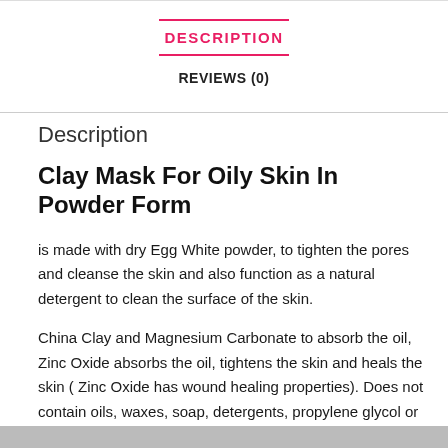DESCRIPTION
REVIEWS (0)
Description
Clay Mask For Oily Skin In Powder Form
is made with dry Egg White powder, to tighten the pores and cleanse the skin and also function as a natural detergent to clean the surface of the skin.
China Clay and Magnesium Carbonate to absorb the oil, Zinc Oxide absorbs the oil, tightens the skin and heals the skin ( Zinc Oxide has wound healing properties). Does not contain oils, waxes, soap, detergents, propylene glycol or glycerin.